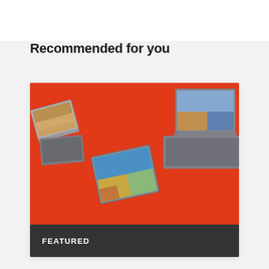Recommended for you
[Figure (photo): Three Lenovo Yoga laptops/tablets shown in different orientations against a red/orange background, with a 'FEATURED' label bar at the bottom of the card]